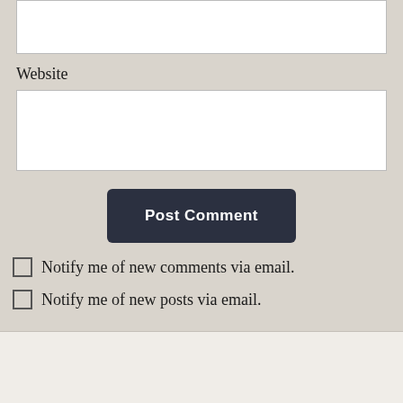Website
Post Comment
Notify me of new comments via email.
Notify me of new posts via email.
Advertisements
[Figure (photo): Pocket Casts advertisement banner: red background with phone image showing 'Distributed' text, ad copy 'An app by listeners, for listeners.' with Pocket Casts logo and name on the right.]